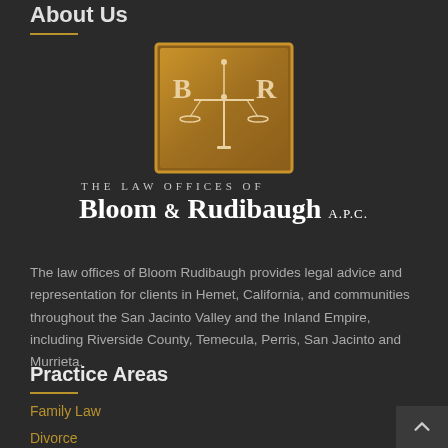About Us
[Figure (logo): Law firm logo: bronze/gold square with scales of justice and B|R letters, for Bloom & Rudibaugh law firm]
THE LAW OFFICES OF BLOOM & RUDIBAUGH A.P.C.
The law offices of Bloom Rudibaugh provides legal advice and representation for clients in Hemet, California, and communities throughout the San Jacinto Valley and the Inland Empire, including Riverside County, Temecula, Perris, San Jacinto and Murrieta.
Practice Areas
Family Law
Divorce